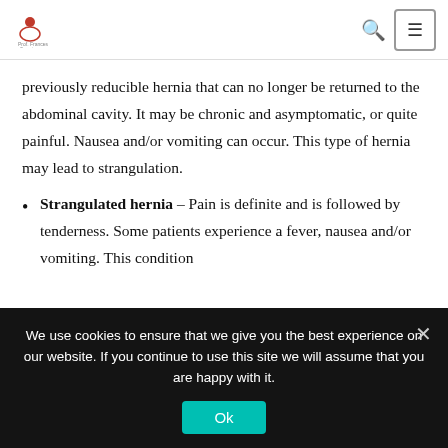Prof. Francesco Saverio (logo and navigation)
previously reducible hernia that can no longer be returned to the abdominal cavity. It may be chronic and asymptomatic, or quite painful. Nausea and/or vomiting can occur. This type of hernia may lead to strangulation.
Strangulated hernia – Pain is definite and is followed by tenderness. Some patients experience a fever, nausea and/or vomiting. This condition
We use cookies to ensure that we give you the best experience on our website. If you continue to use this site we will assume that you are happy with it.